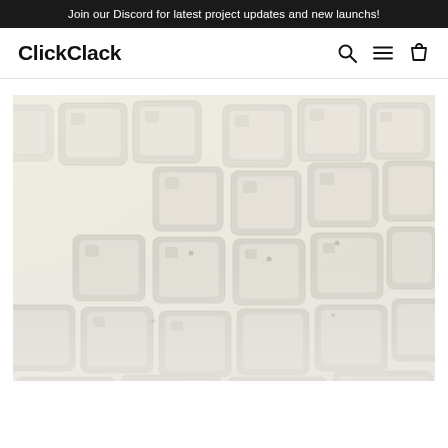Join our Discord for latest project updates and new launchs!
ClickClack
[Figure (photo): Close-up macro photo of a white/light keyboard with keycaps viewed at an angle, showing the tops of multiple keys with a shallow depth of field, keys appear light grey/white with subtle lettering, very washed out high-key lighting]